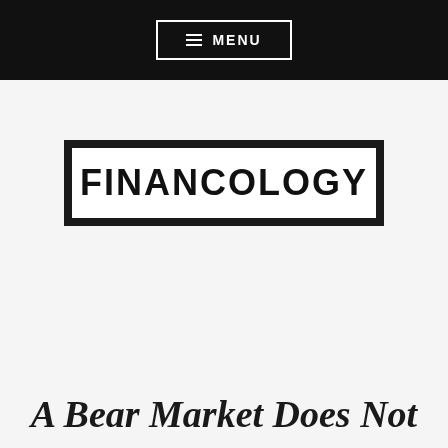≡ MENU
[Figure (logo): Financology logo — bold uppercase text 'FINANCOLOGY' inside a white inner box with a thick black outer border/frame]
A Bear Market Does Not